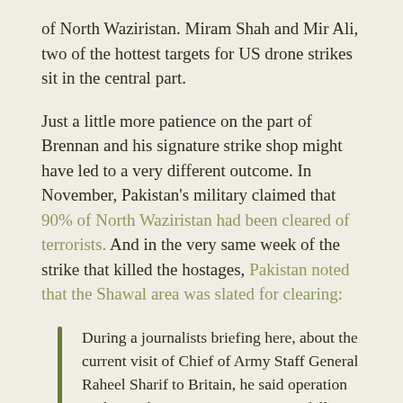of North Waziristan. Miram Shah and Mir Ali, two of the hottest targets for US drone strikes sit in the central part.
Just a little more patience on the part of Brennan and his signature strike shop might have led to a very different outcome. In November, Pakistan's military claimed that 90% of North Waziristan had been cleared of terrorists. And in the very same week of the strike that killed the hostages, Pakistan noted that the Shawal area was slated for clearing:
During a journalists briefing here, about the current visit of Chief of Army Staff General Raheel Sharif to Britain, he said operation Zarb-e-Azb was continuing successfully in North